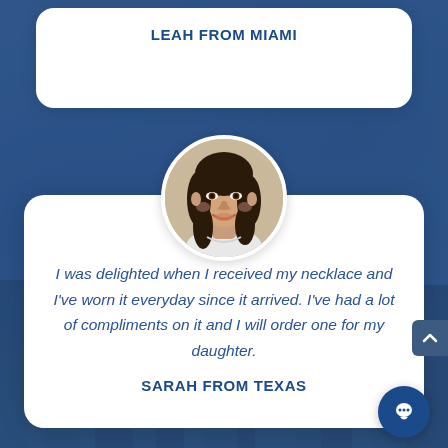LEAH FROM MIAMI
[Figure (photo): Circular portrait photo of a young woman with long dark wavy hair, smiling, wearing a white top, against a neutral background.]
I was delighted when I received my necklace and I've worn it everyday since it arrived. I've had a lot of compliments on it and I will order one for my daughter.
SARAH FROM TEXAS